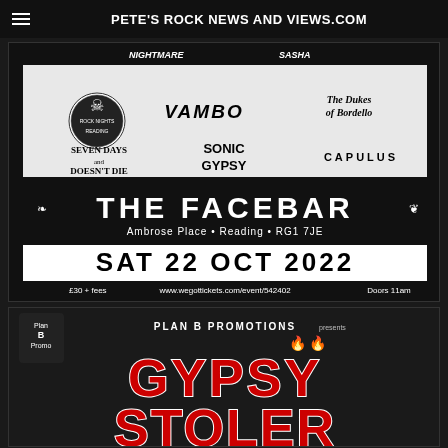PETE'S ROCK NEWS AND VIEWS.COM
[Figure (photo): Concert event flyer for The Facebar, Reading, RG1 7JE. Shows band names: Vambo, The Dukes of Bordello, Seven Days and Doesn't Die, Sonic Gypsy, Capulus. Date: SAT 22 OCT 2022. £30 + fees. www.wegottickets.com/event/542402. Doors 11am.]
[Figure (photo): Plan B Promotions presents Gypsy Stoler event flyer, partially visible showing large red and white stylized text.]